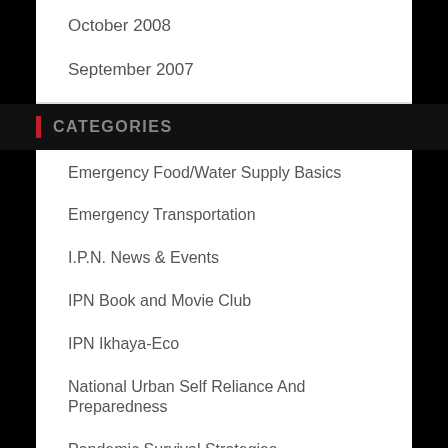October 2008
September 2007
CATEGORIES
Emergency Food/Water Supply Basics
Emergency Transportation
I.P.N. News & Events
IPN Book and Movie Club
IPN Ikhaya-Eco
National Urban Self Reliance And Preparedness
Pandemic Survival Strategies
Preparedness Now!
Ready-UP! America